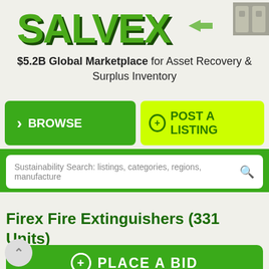[Figure (logo): SALVEX logo in large bold green 3D text with arrow motif]
$5.2B Global Marketplace for Asset Recovery & Surplus Inventory
BROWSE
POST A LISTING
Sustainability Search: listings, categories, regions, manufacturers
Firex Fire Extinguishers (331 Units)
+ PLACE A BID